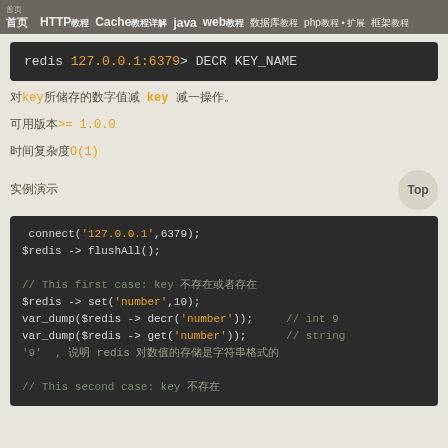首页 HTTP教程 Cache教程详解 java web教程 数据库教程 php教程・扩展 框架教程
redis 127.0.0.1:6379> DECR KEY_NAME
对key所储存的数字值减 key 减一操作。
可用版本>= 1.0.0
时间复杂度O(1)
实例演示
connect('127.0.0.1',6379);
$redis -> flushAll();

// This first case: key 不存在或者存在
$redis -> set('number',10);
var_dump($redis -> decr('number'));     // int 9
var_dump($redis -> get('number'));      // string
'9'  ,  说明 redis 对数值的存储是字符串格式的

// This second case: key 不存在